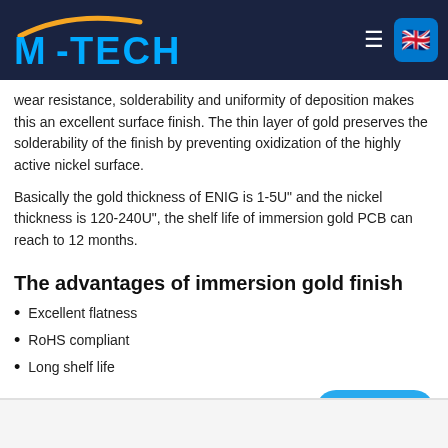M-TECH
wear resistance, solderability and uniformity of deposition makes this an excellent surface finish. The thin layer of gold preserves the solderability of the finish by preventing oxidization of the highly active nickel surface.
Basically the gold thickness of ENIG is 1-5U'' and the nickel thickness is 120-240U'', the shelf life of immersion gold PCB can reach to 12 months.
The advantages of immersion gold finish
Excellent flatness
RoHS compliant
Long shelf life